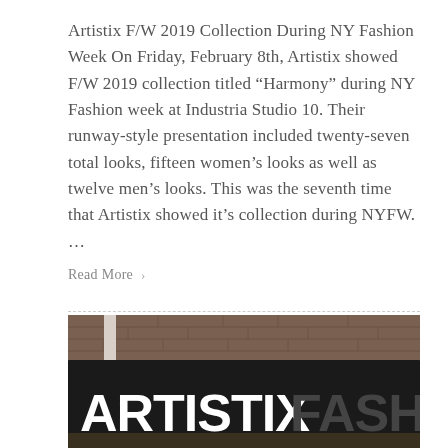Artistix F/W 2019 Collection During NY Fashion Week On Friday, February 8th, Artistix showed F/W 2019 collection titled “Harmony” during NY Fashion week at Industria Studio 10. Their runway-style presentation included twenty-seven total looks, fifteen women’s looks as well as twelve men’s looks. This was the seventh time that Artistix showed it’s collection during NYFW. ...
Read More >
[Figure (photo): Photo of a large black banner sign reading 'ARTISTIX FASHION by Greg Polisseni' displayed at an event venue with exposed brick walls in the background.]